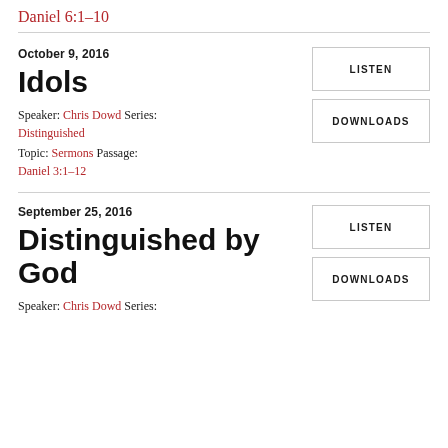Daniel 6:1–10
October 9, 2016
Idols
Speaker: Chris Dowd Series: Distinguished
Topic: Sermons Passage:
Daniel 3:1–12
LISTEN
DOWNLOADS
September 25, 2016
Distinguished by God
Speaker: Chris Dowd Series:
LISTEN
DOWNLOADS